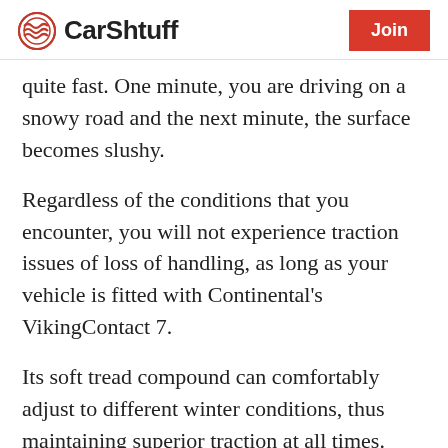CarShtuff | Join
quite fast. One minute, you are driving on a snowy road and the next minute, the surface becomes slushy.
Regardless of the conditions that you encounter, you will not experience traction issues of loss of handling, as long as your vehicle is fitted with Continental's VikingContact 7.
Its soft tread compound can comfortably adjust to different winter conditions, thus maintaining superior traction at all times.